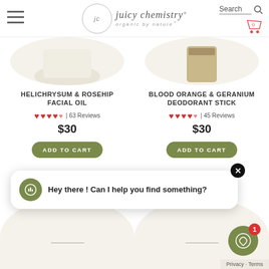[Figure (screenshot): Juicy Chemistry website header with hamburger menu, logo, search bar, and shopping cart]
HELICHRYSUM & ROSEHIP FACIAL OIL
♥♥♥♥♥ | 63 Reviews
$30
ADD TO CART
BLOOD ORANGE & GERANIUM DEODORANT STICK
♥♥♥♥♥ | 45 Reviews
$30
ADD TO CART
Hey there ! Can I help you find something?